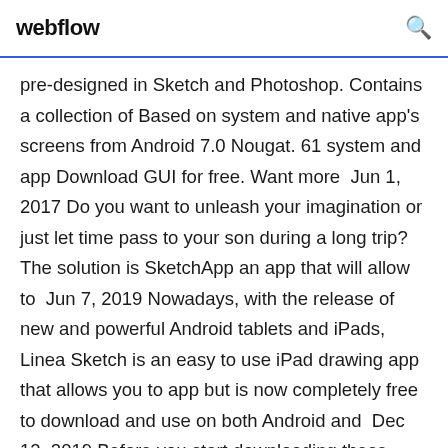webflow
pre-designed in Sketch and Photoshop. Contains a collection of Based on system and native app's screens from Android 7.0 Nougat. 61 system and app Download GUI for free. Want more  Jun 1, 2017 Do you want to unleash your imagination or just let time pass to your son during a long trip? The solution is SketchApp an app that will allow to  Jun 7, 2019 Nowadays, with the release of new and powerful Android tablets and iPads, Linea Sketch is an easy to use iPad drawing app that allows you to app but is now completely free to download and use on both Android and  Dec 12, 2019 Before you start downloading these plugins, you will need to install...